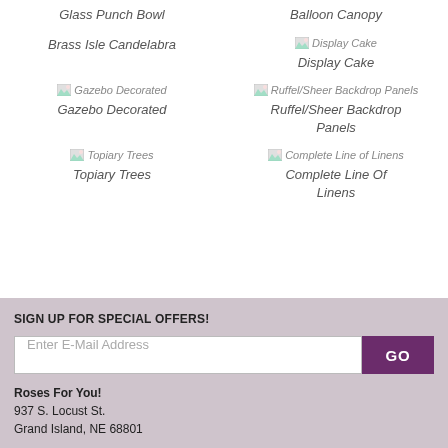Glass Punch Bowl
Balloon Canopy
Brass Isle Candelabra
[Figure (photo): Display Cake image placeholder]
Display Cake
[Figure (photo): Gazebo Decorated image placeholder]
Gazebo Decorated
[Figure (photo): Ruffel/Sheer Backdrop Panels image placeholder]
Ruffel/Sheer Backdrop Panels
[Figure (photo): Topiary Trees image placeholder]
Topiary Trees
[Figure (photo): Complete Line of Linens image placeholder]
Complete Line Of Linens
SIGN UP FOR SPECIAL OFFERS!
Enter E-Mail Address
GO
Roses For You!
937 S. Locust St.
Grand Island, NE  68801